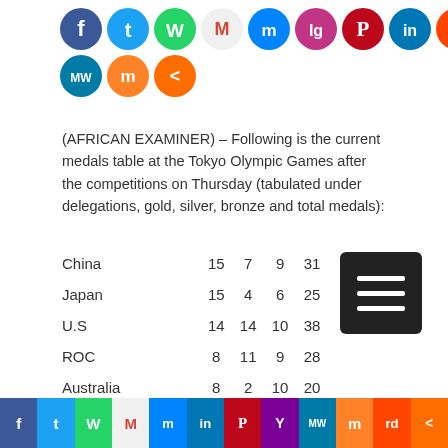[Figure (infographic): Social media share icons: Facebook, Twitter, WhatsApp, Gmail, Messenger, Instagram, Pinterest, LinkedIn, Reddit (top row); MeWe, Mix, Share (second row)]
(AFRICAN EXAMINER) – Following is the current medals table at the Tokyo Olympic Games after the competitions on Thursday (tabulated under delegations, gold, silver, bronze and total medals):
| Country | Gold | Silver | Bronze | Total |
| --- | --- | --- | --- | --- |
| China | 15 | 7 | 9 | 31 |
| Japan | 15 | 4 | 6 | 25 |
| U.S | 14 | 14 | 10 | 38 |
| ROC | 8 | 11 | 9 | 28 |
| Australia | 8 | 2 | 10 | 20 |
| Britain | 5 | 7 | 6 | 18 |
| South Korea | 4 | 3 | 5 | 12 |
[Figure (infographic): Bottom social media share bar: Facebook, Twitter, WhatsApp, Gmail, Messenger, LinkedIn, Pinterest, Yahoo, MeWe, Mix, Reddit, Share]